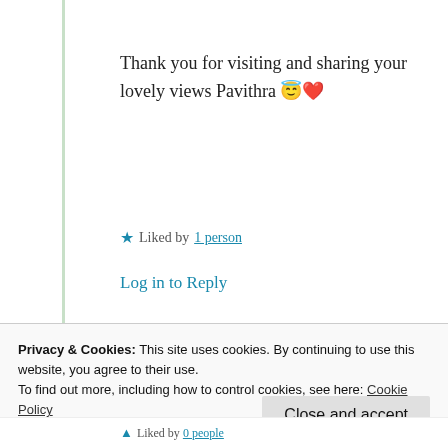Thank you for visiting and sharing your lovely views Pavithra 😇❤️
★ Liked by 1 person
Log in to Reply
Madhavi_J97
5th Jul 2021 at 5:58 pm
Privacy & Cookies: This site uses cookies. By continuing to use this website, you agree to their use. To find out more, including how to control cookies, see here: Cookie Policy
Close and accept
Liked by 0 people